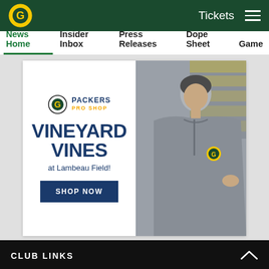Green Bay Packers website header with logo, Tickets link, and navigation menu
News Home | Insider Inbox | Press Releases | Dope Sheet | Game
[Figure (screenshot): Packers Pro Shop advertisement for Vineyard Vines at Lambeau Field showing a woman in a grey Packers quarter-zip fleece standing in a stadium. Left side shows: Packers Pro Shop logo, VINEYARD VINES text, 'at Lambeau Field!' and a SHOP NOW button.]
CLUB LINKS
[Figure (infographic): Social sharing icons row: Facebook, Twitter, Email, Link/share icon]